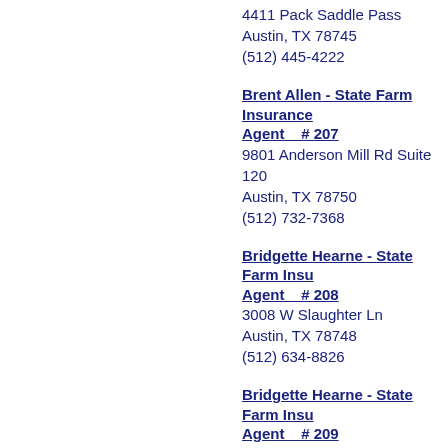4411 Pack Saddle Pass
Austin, TX 78745
(512) 445-4222
Brent Allen - State Farm Insurance Agent    # 207
9801 Anderson Mill Rd Suite 120
Austin, TX 78750
(512) 732-7368
Bridgette Hearne - State Farm Insurance Agent    # 208
3008 W Slaughter Ln
Austin, TX 78748
(512) 634-8826
Bridgette Hearne - State Farm Insurance Agent    # 209
3008 W Slaughter Ln Suite A
Austin, TX 78748
(512) 441-3704
Carmina Eaton - State Farm Insurance Agent    # 210
4201 W Parmer Ln Bldg B, Suite 170
Austin, TX 78727
(512) 961-5993
Carmina Eaton - State Farm Insurance Agent    # 211